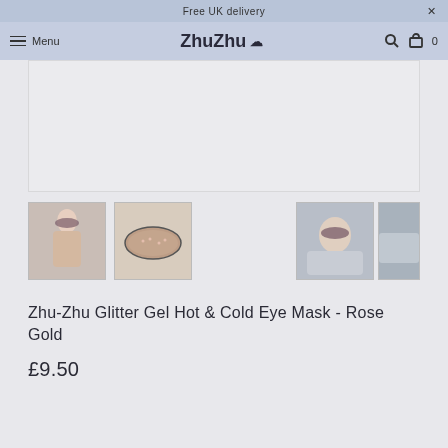Free UK delivery
Menu  ZhuZhu  🔍  🛒 0
[Figure (photo): Large main product image area (partially visible, light gray background)]
[Figure (photo): Thumbnail 1: Woman wearing rose gold glitter gel eye mask, smiling]
[Figure (photo): Thumbnail 2: Rose gold glitter gel eye mask on white background]
[Figure (photo): Thumbnail 3: Person lying down wearing the eye mask in bed]
[Figure (photo): Thumbnail 4: Person lying in bed, partial view]
Zhu-Zhu Glitter Gel Hot & Cold Eye Mask - Rose Gold
£9.50